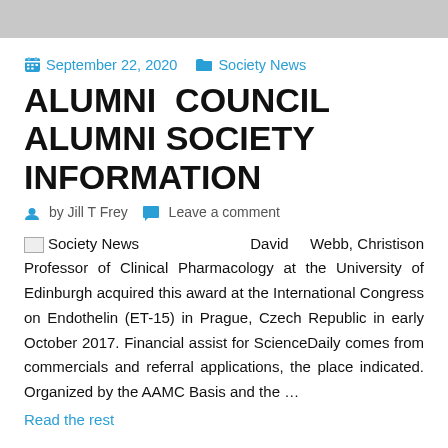September 22, 2020   Society News
ALUMNI COUNCIL ALUMNI SOCIETY INFORMATION
by Jill T Frey   Leave a comment
Society News   David Webb, Christison Professor of Clinical Pharmacology at the University of Edinburgh acquired this award at the International Congress on Endothelin (ET-15) in Prague, Czech Republic in early October 2017. Financial assist for ScienceDaily comes from commercials and referral applications, the place indicated. Organized by the AAMC Basis and the …
Read the rest